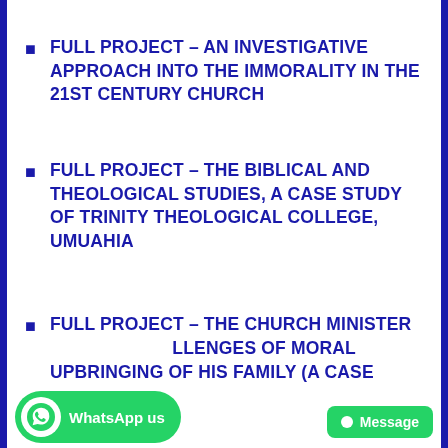FULL PROJECT – AN INVESTIGATIVE APPROACH INTO THE IMMORALITY IN THE 21ST CENTURY CHURCH
FULL PROJECT – THE BIBLICAL AND THEOLOGICAL STUDIES, A CASE STUDY OF TRINITY THEOLOGICAL COLLEGE, UMUAHIA
FULL PROJECT – THE CHURCH MINISTER AND THE CHALLENGES OF MORAL UPBRINGING OF HIS FAMILY (A CASE